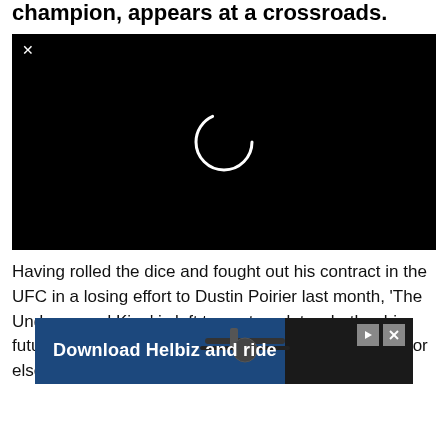champion, appears at a crossroads.
[Figure (screenshot): Black video player with a white loading spinner circle in the center and a close (×) button in the top-left corner.]
Having rolled the dice and fought out his contract in the UFC in a losing effort to Dustin Poirier last month, 'The Underground King' is left to contemplate whether his future lies within the Ultimate Fighting Championship or elsewhere — and if it is the latter, there d
[Figure (screenshot): Advertisement banner reading 'Download Helbiz and ride' with a dark background showing a scooter handlebar, and ad control buttons (play indicator and close) in the top-right.]